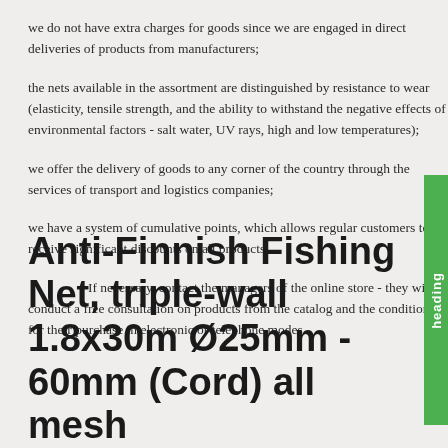we do not have extra charges for goods since we are engaged in direct deliveries of products from manufacturers;
the nets available in the assortment are distinguished by resistance to wear (elasticity, tensile strength, and the ability to withstand the negative effects of environmental factors - salt water, UV rays, high and low temperatures);
we offer the delivery of goods to any corner of the country through the services of transport and logistics companies;
we have a system of cumulative points, which allows regular customers to receive significant discounts on all products.
If necessary, contact the managers of the online store - they will conduct a free consultation on products from the catalog and the conditions for their purchase in electronic or telephone modes.
Anti-Finnish Fishing Net, triple-wall 1.8x30m Ø25mm - 60mm (Cord) all mesh